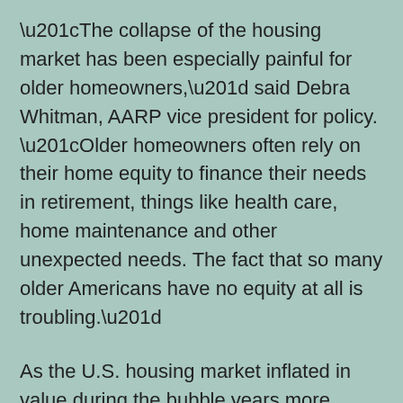“The collapse of the housing market has been especially painful for older homeowners,” said Debra Whitman, AARP vice president for policy. “Older homeowners often rely on their home equity to finance their needs in retirement, things like health care, home maintenance and other unexpected needs. The fact that so many older Americans have no equity at all is troubling.”
As the U.S. housing market inflated in value during the bubble years more homeowners took out larger mortgages, leaving heavier debt burdens for older Americans. Serious